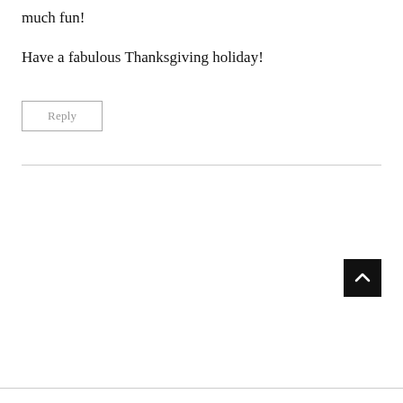much fun!
Have a fabulous Thanksgiving holiday!
Reply
[Figure (other): Scroll-to-top button: black square with white upward chevron arrow]